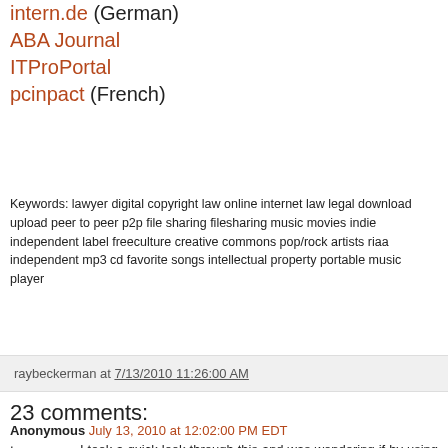intern.de (German)
ABA Journal
ITProPortal
pcinpact (French)
Keywords: lawyer digital copyright law online internet law legal download upload peer to peer p2p file sharing filesharing music movies indie independent label freeculture creative commons pop/rock artists riaa independent mp3 cd favorite songs intellectual property portable music player
raybeckerman at 7/13/2010 11:26:00 AM
23 comments:
Anonymous July 13, 2010 at 12:02:00 PM EDT
I took a quick look through this and was wondering if by using this document and cross referencing it with other publicly available documents would it be possible to find out